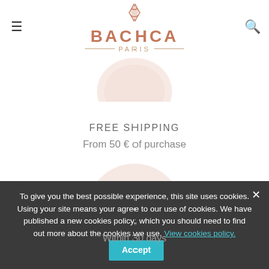[Figure (logo): Bachca Paris logo with stylized scissors icon, brand name in copper/rose color, and 'PARIS' subtitle with decorative lines]
[Figure (illustration): Pink half-circle shipping icon (represents shipping/delivery)]
FREE SHIPPING
From 50 € of purchase
[Figure (illustration): Pink circle with two circular arrows icon (represents returns and exchanges)]
RETURNS AND EXCHANGES
Within 30 days
To give you the best possible experience, this site uses cookies. Using your site means your agree to our use of cookies. We have published a new cookies policy, which you should need to find out more about the cookies we use. View cookies policy. Accept